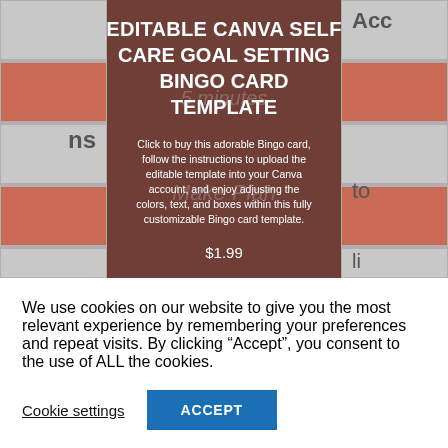[Figure (screenshot): Editable Canva Self Care Goal Setting Bingo Card Template product listing with dark brownish-red overlay on a bingo card background image showing grid tiles in terracotta and gray colors. Partial text visible on left and right edges.]
EDITABLE CANVA SELF CARE GOAL SETTING BINGO CARD TEMPLATE
Click to buy this adorable Bingo card, follow the instructions to upload the editable template into your Canva account, and enjoy adjusting the colors, text, and boxes within this fully customizable Bingo card template.
$1.99
We use cookies on our website to give you the most relevant experience by remembering your preferences and repeat visits. By clicking “Accept”, you consent to the use of ALL the cookies.
Cookie settings
ACCEPT